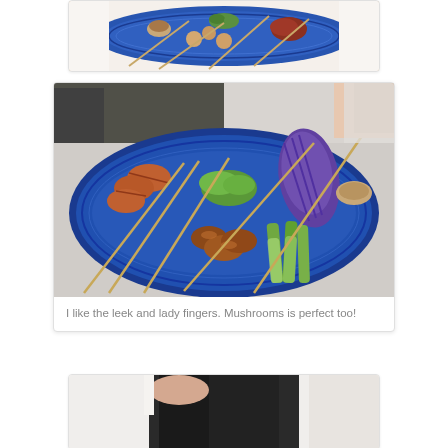[Figure (photo): Top portion of a food photo showing a blue ceramic plate with various yakitori skewers including mushrooms and chicken meatballs with green garnish]
[Figure (photo): A blue ceramic plate with assorted yakitori skewers including bacon-wrapped items, chicken skewers with sauce, leeks, lady fingers (okra), and mushrooms]
I like the leek and lady fingers. Mushrooms is perfect too!
[Figure (photo): Partial view of a person at a restaurant, bottom of page cropped]